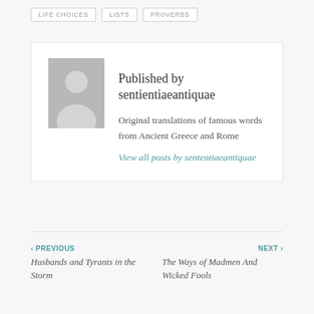LIFE CHOICES
LISTS
PROVERBS
Published by sententiaeantiquae
[Figure (illustration): Gray placeholder avatar silhouette of a person]
Original translations of famous words from Ancient Greece and Rome
View all posts by sententiaeantiquae
‹ PREVIOUS
Husbands and Tyrants in the Storm
NEXT ›
The Ways of Madmen And Wicked Fools